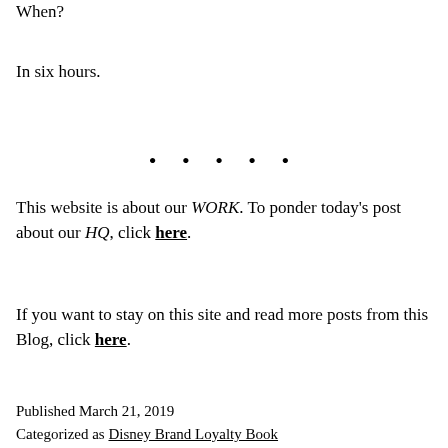When?
In six hours.
• • • • •
This website is about our WORK. To ponder today's post about our HQ, click here.
If you want to stay on this site and read more posts from this Blog, click here.
Published March 21, 2019
Categorized as Disney Brand Loyalty Book
Tagged Bold, Customer Service, Disney, Speaking, vision